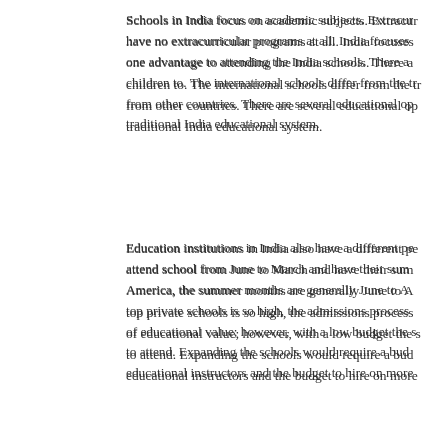Schools in India focus on academic subjects. Extracurricular programs have no extracurricular programs at all. India focuses one advantage to attending the India schools. There a children to. The international schools differ from the tra from other countries. There are several educational op traditional India educational system.
Education institutions in India also have a different pe attend school from June to March and have their sum America, the summer months are generally June to A top private schools is so high, the admissions process of educational value; however, with a low budget the s to attend. Expanding the schools would require a bud educational instructors and the budget to hire on more
The education system in India is very different than sc are much higher than those in India. Students begin th high school they begin training for their career path. T extracurricular activities for the students; instead, India
Writing Help
MyHomeworkDone
Essay writers online